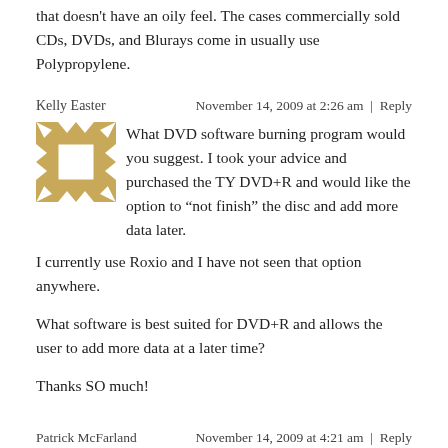that doesn't have an oily feel. The cases commercially sold CDs, DVDs, and Blurays come in usually use Polypropylene.
Kelly Easter
November 14, 2009 at 2:26 am  |  Reply
[Figure (illustration): Avatar image with gold and white geometric diamond/cross pattern]
What DVD software burning program would you suggest. I took your advice and purchased the TY DVD+R and would like the option to “not finish” the disc and add more data later. I currently use Roxio and I have not seen that option anywhere.
What software is best suited for DVD+R and allows the user to add more data at a later time?
Thanks SO much!
Patrick McFarland
November 14, 2009 at 4:21 am  |  Reply